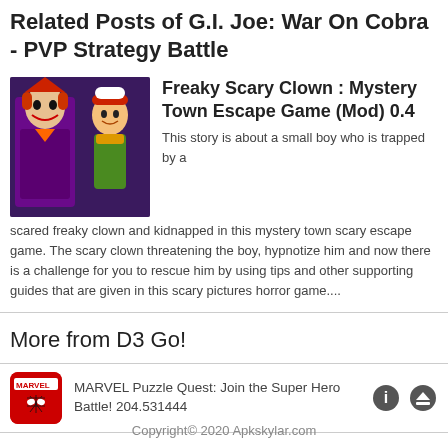Related Posts of G.I. Joe: War On Cobra - PVP Strategy Battle
[Figure (illustration): Thumbnail image showing a clown character and a small boy cartoon character]
Freaky Scary Clown : Mystery Town Escape Game (Mod) 0.4
This story is about a small boy who is trapped by a scared freaky clown and kidnapped in this mystery town scary escape game. The scary clown threatening the boy, hypnotize him and now there is a challenge for you to rescue him by using tips and other supporting guides that are given in this scary pictures horror game....
More from D3 Go!
[Figure (illustration): MARVEL Puzzle Quest app icon showing Spider-Man on red background]
MARVEL Puzzle Quest: Join the Super Hero Battle! 204.531444
Copyright© 2020 Apkskylar.com